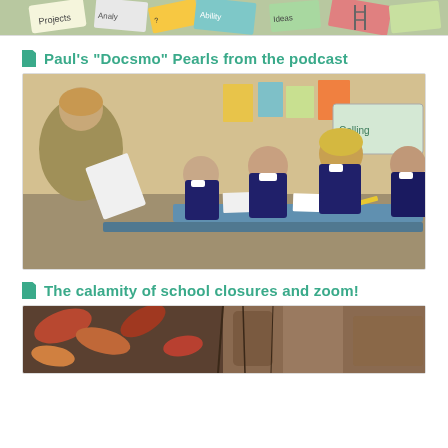[Figure (photo): Colorful sticky notes and papers with words like Projects, Analysis, Ability, Ideas on a table or board]
Paul's "Docsmo" Pearls from the podcast
[Figure (photo): A classroom scene showing a teacher reading from a book to attentive school children in navy blue uniforms seated at desks]
The calamity of school closures and zoom!
[Figure (photo): Close-up of an outdoor natural scene with leaves and bark/rock texture]